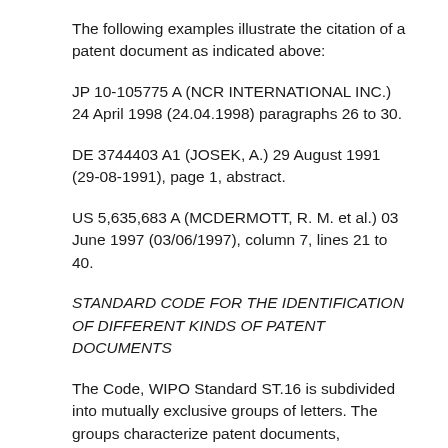The following examples illustrate the citation of a patent document as indicated above:
JP 10-105775 A (NCR INTERNATIONAL INC.) 24 April 1998 (24.04.1998) paragraphs 26 to 30.
DE 3744403 A1 (JOSEK, A.) 29 August 1991 (29-08-1991), page 1, abstract.
US 5,635,683 A (MCDERMOTT, R. M. et al.) 03 June 1997 (03/06/1997), column 7, lines 21 to 40.
STANDARD CODE FOR THE IDENTIFICATION OF DIFFERENT KINDS OF PATENT DOCUMENTS
The Code, WIPO Standard ST.16 is subdivided into mutually exclusive groups of letters. The groups characterize patent documents, nonpatent literature documents (N), and restricted documents (X). Groups 1-7 comprise letters enabling identification of documents pertaining to different publication levels.